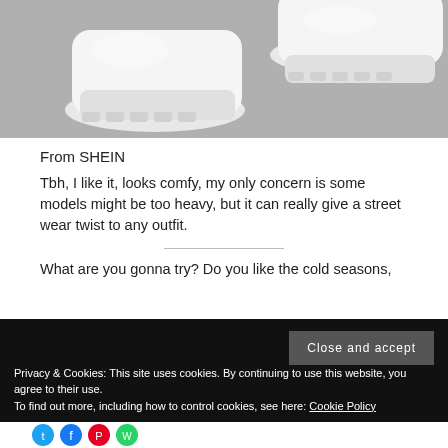[Figure (photo): Photo of white chunky platform sneakers/boots against a gray background]
From SHEIN
Tbh, I like it, looks comfy, my only concern is some models might be too heavy, but it can really give a street wear twist to any outfit.
What are you gonna try? Do you like the cold seasons,
Privacy & Cookies: This site uses cookies. By continuing to use this website, you agree to their use.
To find out more, including how to control cookies, see here: Cookie Policy
[Figure (other): Social media share icons: Twitter, Facebook, Pinterest, WhatsApp]